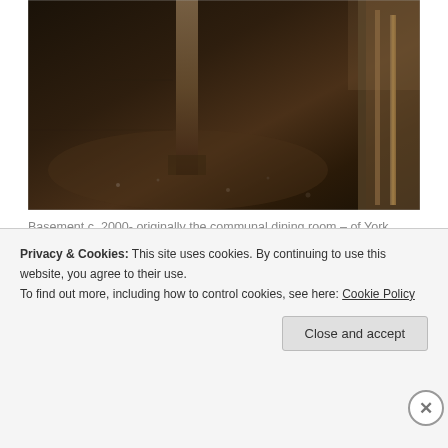[Figure (photo): Dark basement room circa 2000, showing a concrete floor with scattered debris, a structural column/post in the center, and wooden paneling or shelving on the right side. Low-light photography showing what was originally a communal dining room.]
Basement c. 2000- originally the communal dining room – of York Street Chambers
[Figure (other): Advertisement for Pocket Casts app - 'The go-to app for podcast lovers.' with the Pocket Casts logo (red circle with headphone icon) and a colorful tile graphic.]
As in Chapion Street, as in York Street, the basement of
Privacy & Cookies: This site uses cookies. By continuing to use this website, you agree to their use.
To find out more, including how to control cookies, see here: Cookie Policy
Close and accept